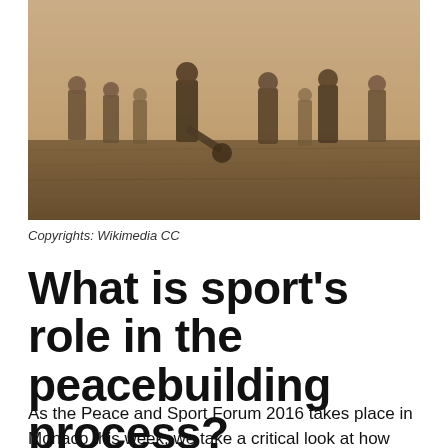[Figure (photo): Sepia-toned historical photograph of soldiers playing football (soccer) on an open field. Multiple men in military uniforms are visible, with one player kicking a ball in the center of the frame. The sky is overcast.]
Copyrights: Wikimedia CC
What is sport’s role in the peacebuilding process?
As the Peace and Sport Forum 2016 takes place in Monaco this week, we take a critical look at how